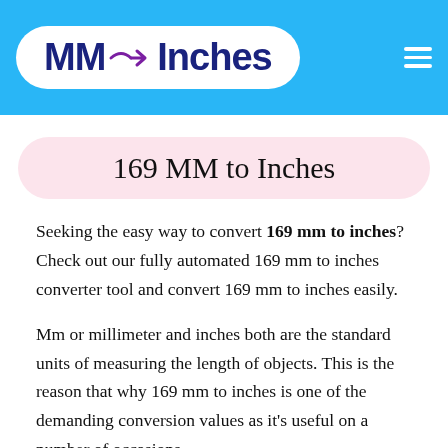MM → Inches
169 MM to Inches
Seeking the easy way to convert 169 mm to inches? Check out our fully automated 169 mm to inches converter tool and convert 169 mm to inches easily.
Mm or millimeter and inches both are the standard units of measuring the length of objects. This is the reason that why 169 mm to inches is one of the demanding conversion values as it's useful on a number of occasions.